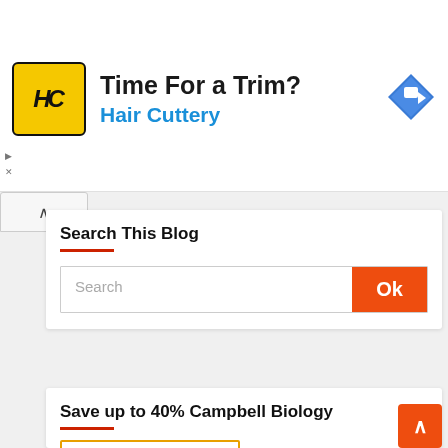[Figure (other): Hair Cuttery advertisement banner with yellow logo showing HC letters and text 'Time For a Trim? Hair Cuttery']
Search This Blog
[Figure (screenshot): Search input box with placeholder 'Search' and orange Ok button]
Save up to 40% Campbell Biology
[Figure (other): Amazon.in product listing showing Campbell Biology book cover with purple orchid]